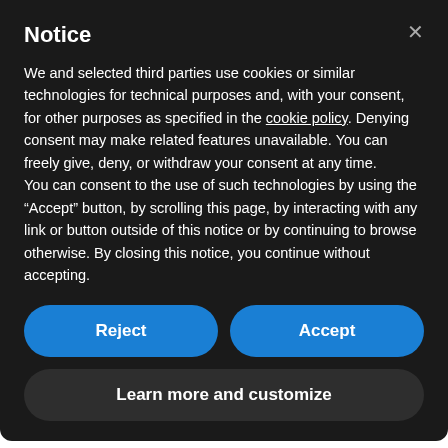Notice
We and selected third parties use cookies or similar technologies for technical purposes and, with your consent, for other purposes as specified in the cookie policy. Denying consent may make related features unavailable. You can freely give, deny, or withdraw your consent at any time.
You can consent to the use of such technologies by using the “Accept” button, by scrolling this page, by interacting with any link or button outside of this notice or by continuing to browse otherwise. By closing this notice, you continue without accepting.
Reject
Accept
Learn more and customize
from trauma — you definitely need